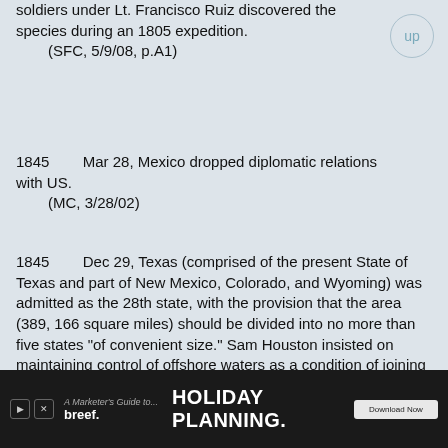soldiers under Lt. Francisco Ruiz discovered the species during an 1805 expedition.
    (SFC, 5/9/08, p.A1)
1845        Mar 28, Mexico dropped diplomatic relations with US.
    (MC, 3/28/02)
1845        Dec 29, Texas (comprised of the present State of Texas and part of New Mexico, Colorado, and Wyoming) was admitted as the 28th state, with the provision that the area (389, 166 square miles) should be divided into no more than five states "of convenient size." Sam Houston insisted on maintaining control of offshore waters as a condition of joining the union. The annexation of Texas led Mexico and the US to prepare for war.
    (AP, 12/29/97)(Econ, 7/1/06, p.29)(SFC, 1/11/20, p.C2)
[Figure (screenshot): Advertisement banner for breef. 'A Marketer's Guide to... HOLIDAY PLANNING.' with a Download Now button, dark background with festive imagery.]